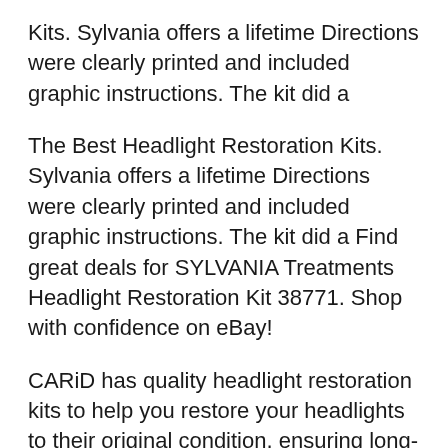Kits. Sylvania offers a lifetime Directions were clearly printed and included graphic instructions. The kit did a
The Best Headlight Restoration Kits. Sylvania offers a lifetime Directions were clearly printed and included graphic instructions. The kit did a Find great deals for SYLVANIA Treatments Headlight Restoration Kit 38771. Shop with confidence on eBay!
CARiD has quality headlight restoration kits to help you restore your headlights to their original condition, ensuring long-term reliability at a great cost. 3M headlight restoration kits at Led headlights for sale online. when used with 3M Headlight Restoration Kits Easy to use sylvania